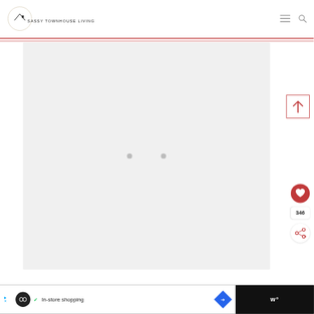[Figure (logo): Sassy Townhouse Living logo with circle and roof icon, text reads SASSY TOWNHOUSE LIVING]
[Figure (screenshot): Main content area, light gray background with two small gray dots in the center, scroll-to-top button with red border and up arrow on the right side]
[Figure (infographic): Heart/like button (pink circle with heart icon), count badge showing 346, share button (white circle with share icon)]
[Figure (screenshot): Ad banner: Sassy Loops black circle logo, checkmark, text 'In-store shopping', blue diamond arrow icon, dark right section with 'w°' text]